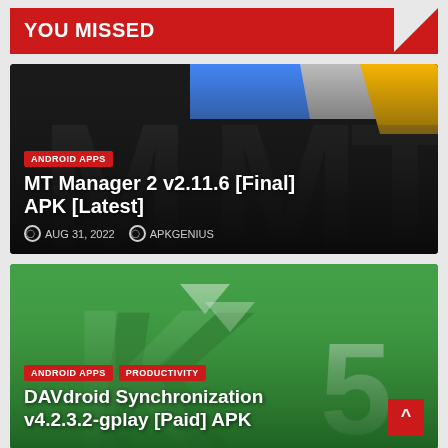YOU MISSED
[Figure (screenshot): MT Manager 2 app icon/banner with dark background featuring large M letters and colorful folder tabs]
ANDROID APPS
MT Manager 2 v2.11.6 [Final] APK [Latest]
AUG 31, 2022   APKGENIUS
[Figure (screenshot): DAVdroid Synchronization app icon on green background with large K letter and shadow effect showing number 5]
ANDROID APPS   PRODUCTIVITY
DAVdroid Synchronization v4.2.3.2-gplay [Paid] APK